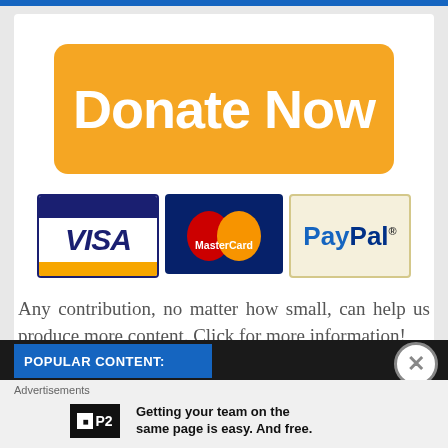[Figure (infographic): Orange rounded rectangle button with white bold text 'Donate Now']
[Figure (infographic): Payment method logos: VISA, MasterCard, PayPal]
Any contribution, no matter how small, can help us produce more content. Click for more information!
POPULAR CONTENT:
Advertisements
Getting your team on the same page is easy. And free.